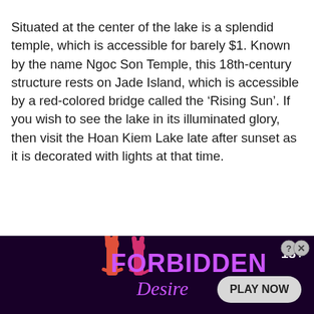Situated at the center of the lake is a splendid temple, which is accessible for barely $1. Known by the name Ngoc Son Temple, this 18th-century structure rests on Jade Island, which is accessible by a red-colored bridge called the 'Rising Sun'. If you wish to see the lake in its illuminated glory, then visit the Hoan Kiem Lake late after sunset as it is decorated with lights at that time.
Address: Dinh Tien Hoang, Hang Trong, Hoan Kiem, Hanoi
[Figure (other): Advertisement banner for 'Forbidden Desire 18+' with 'PLAY NOW' button, dark purple background, silhouette figure, and close/help buttons.]